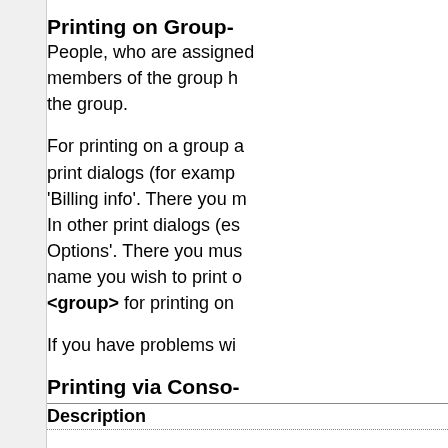Printing on Group-
People, who are assigned members of the group h the group.
For printing on a group a print dialogs (for examp 'Billing info'. There you m In other print dialogs (es Options'. There you mus name you wish to print o <group> for printing on
If you have problems wi
Printing via Conso-
| Description |
| --- |